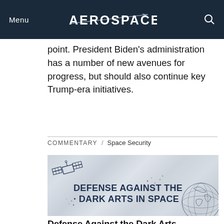Menu / AEROSPACE / Search
point. President Biden's administration has a number of new avenues for progress, but should also continue key Trump-era initiatives.
COMMENTARY / Space Security
[Figure (illustration): Crumpled paper background with a sketch of a satellite (upper left) and a globe (lower right). Large dark blue bold text reads: DEFENSE AGAINST THE DARK ARTS IN SPACE]
Defense Against the Dark Arts...